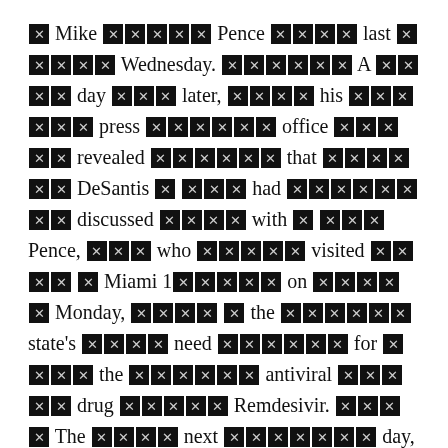[redacted] Mike [redacted] Pence [redacted] last [redacted] Wednesday. [redacted] A [redacted] day [redacted] later, [redacted] his [redacted] press [redacted] office [redacted] revealed [redacted] that [redacted] DeSantis [redacted] had [redacted] discussed [redacted] with [redacted] Pence, [redacted] who [redacted] visited [redacted] Miami 1[redacted] on [redacted] Monday, [redacted] the [redacted] state's [redacted] need [redacted] for [redacted] the [redacted] antiviral [redacted] drug [redacted] Remdesivir. [redacted] The [redacted] next [redacted] day, [redacted] DeSantis [redacted] said [redacted] a [redacted] shipment [redacted] of [redacted] 11,000 1[redacted] vials [redacted] was [redacted] en [redacted] route. [redacted] The [redacted] contents [redacted] of [redacted] his [redacted] conversation [redacted] with [redacted] the [redacted]